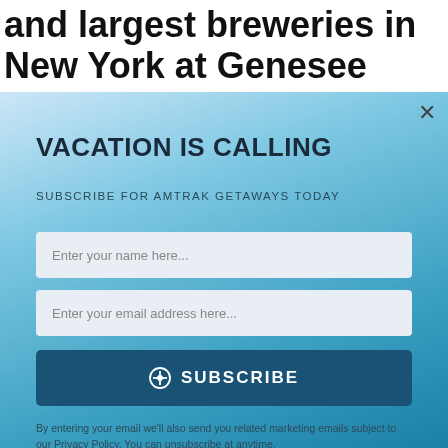and largest breweries in New York at Genesee Brewery in Rochester. This brewery is only 0.5
VACATION IS CALLING
SUBSCRIBE FOR AMTRAK GETAWAYS TODAY
Enter your name here...
Enter your email address here...
⊕ SUBSCRIBE
By entering your email we'll also send you related marketing emails subject to our Privacy Policy. You can unsubscribe at anytime.